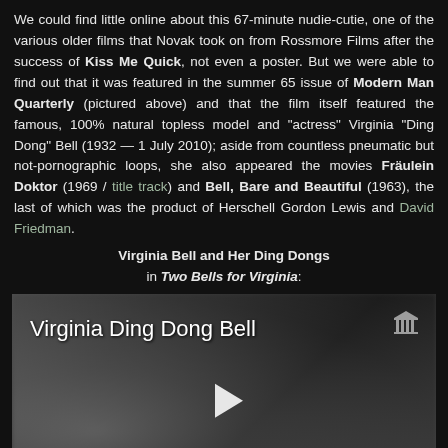We could find little online about this 67-minute nudie-cutie, one of the various older films that Novak took on from Rossmore Films after the success of Kiss Me Quick, not even a poster. But we were able to find out that it was featured in the summer 65 issue of Modern Man Quarterly (pictured above) and that the film itself featured the famous, 100% natural topless model and "actress" Virginia "Ding Dong" Bell (1932 — 1 July 2010); aside from countless pneumatic but not-pornographic loops, she also appeared the movies Fräulein Doktor (1969 / title track) and Bell, Bare and Beautiful (1963), the last of which was the product of Herschell Gordon Lewis and David Friedman.
Virginia Bell and Her Ding Dongs in Two Bells for Virginia:
[Figure (other): Video thumbnail showing 'Virginia Ding Dong Bell' title text with a blurred grayscale image of a woman and a play button in the center. Archive.org icon in top right corner.]